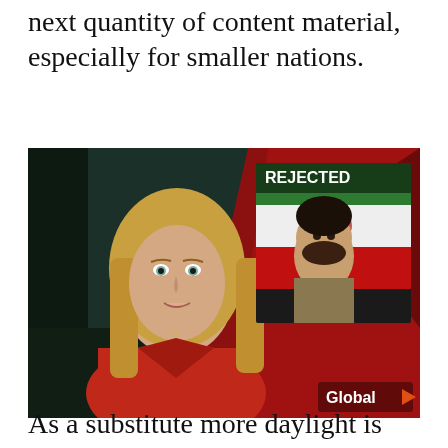next quantity of content material, especially for smaller nations.
[Figure (photo): TV news broadcast screenshot showing a female news anchor in a red jacket on the left, with an inset graphic on the upper right showing a man with the word 'REJECTED' above it, and a Global TV logo in the lower right corner.]
As a substitute more daylight is absorbed by land and water fueling additional warming